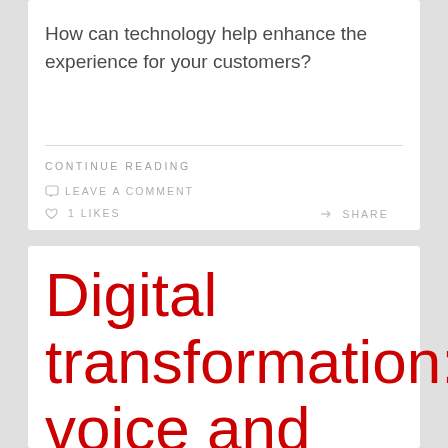How can technology help enhance the experience for your customers?
CONTINUE READING
LEAVE A COMMENT
1 LIKES
SHARE
Digital transformation: voice and choice